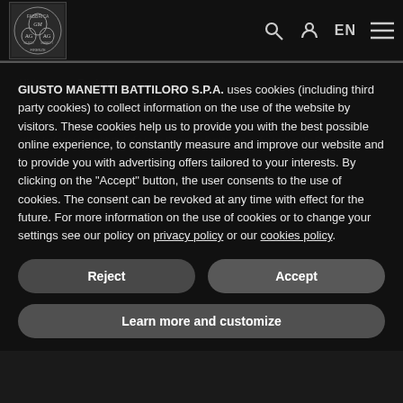Navigation bar with logo, search icon, user icon, EN language selector, and hamburger menu
GIUSTO MANETTI BATTILORO S.P.A. uses cookies (including third party cookies) to collect information on the use of the website by visitors. These cookies help us to provide you with the best possible online experience, to constantly measure and improve our website and to provide you with advertising offers tailored to your interests. By clicking on the "Accept" button, the user consents to the use of cookies. The consent can be revoked at any time with effect for the future. For more information on the use of cookies or to change your settings see our policy on privacy policy or our cookies policy.
Reject
Accept
Learn more and customize
The story of the company that has gone on to become the world's leading producers of gold and silver leaf coincides with that of a large Florentine family who, as far back as the Renaissance,